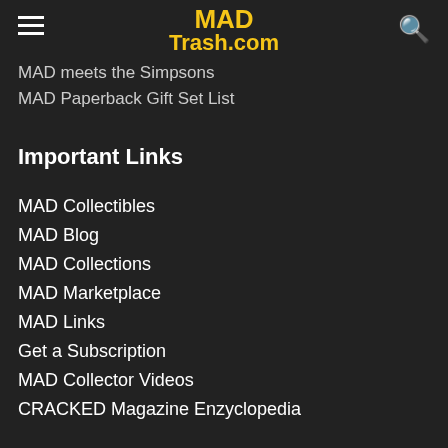MAD Trash.com
MAD meets the Simpsons
MAD Paperback Gift Set List
Important Links
MAD Collectibles
MAD Blog
MAD Collections
MAD Marketplace
MAD Links
Get a Subscription
MAD Collector Videos
CRACKED Magazine Enzyclopedia